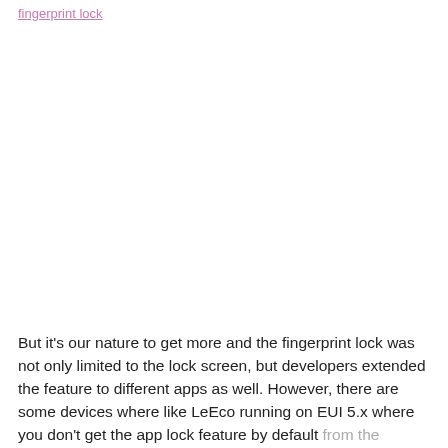[link text partially visible]
But it's our nature to get more and the fingerprint lock was not only limited to the lock screen, but developers extended the feature to different apps as well. However, there are some devices where like LeEco running on EUI 5.x where you don't get the app lock feature by default from the phone-maker.